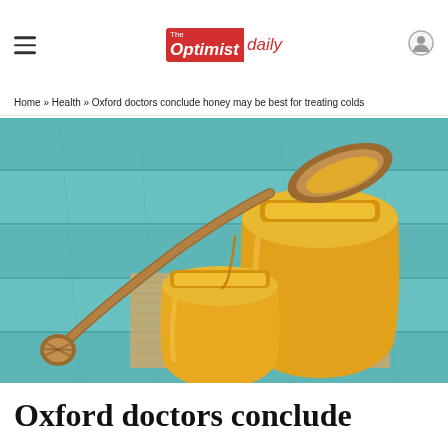The Optimist daily
Home » Health » Oxford doctors conclude honey may be best for treating colds
[Figure (photo): Two glass jars of honey on a burlap cloth on a teal wooden surface, with a wooden honey dipper resting across them and dripping honey into the smaller jar.]
Oxford doctors conclude